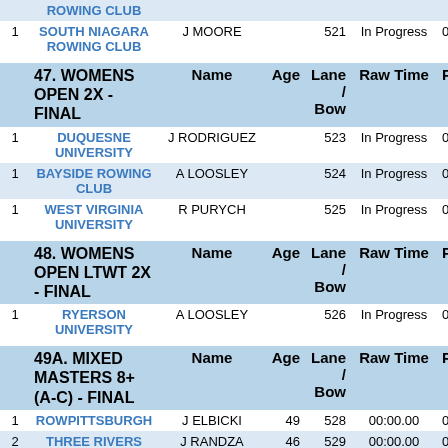| Place | Club | Name | Age | Lane/Bow | Raw Time | Penal |
| --- | --- | --- | --- | --- | --- | --- |
| 1 | SOUTH NIAGARA ROWING CLUB | J MOORE |  | 521 | In Progress | 00:0 |
|  | 47. WOMENS OPEN 2X - FINAL | Name | Age | Lane / Bow | Raw Time | Penal |
| --- | --- | --- | --- | --- | --- | --- |
| 1 | DUQUESNE UNIVERSITY | J RODRIGUEZ |  | 523 | In Progress | 00:0 |
| 1 | BAYSIDE ROWING CLUB | A LOOSLEY |  | 524 | In Progress | 00:0 |
| 1 | WEST VIRGINIA UNIVERSITY | R PURYCH |  | 525 | In Progress | 00:0 |
|  | 48. WOMENS OPEN LTWT 2X - FINAL | Name | Age | Lane / Bow | Raw Time | Penal |
| --- | --- | --- | --- | --- | --- | --- |
| 1 | RYERSON UNIVERSITY | A LOOSLEY |  | 526 | In Progress | 00:0 |
|  | 49A. MIXED MASTERS 8+ (A-C) - FINAL | Name | Age | Lane / Bow | Raw Time | Penal |
| --- | --- | --- | --- | --- | --- | --- |
| 1 | ROWPITTSBURGH | J ELBICKI | 49 | 528 | 00:00.00 | 00:0 |
| 2 | THREE RIVERS ROWING ASSOCIATION | J RANDZA | 46 | 529 | 00:00.00 | 00:0 |